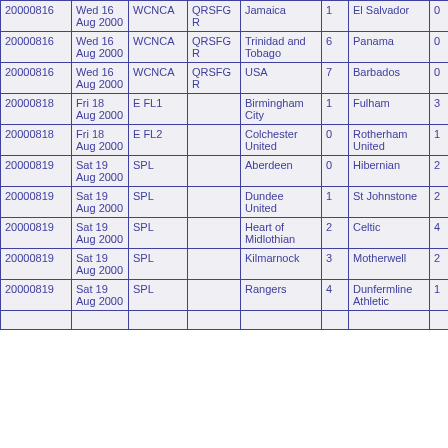| Date | Day | Competition | Round | Home | HS | Away | AS | Attendance |
| --- | --- | --- | --- | --- | --- | --- | --- | --- |
| 20000816 | Wed 16 Aug 2000 | WCNCA | QRSFGR | Jamaica | 1 | El Salvador | 0 |  |
| 20000816 | Wed 16 Aug 2000 | WCNCA | QRSFGR | Trinidad and Tobago | 6 | Panama | 0 |  |
| 20000816 | Wed 16 Aug 2000 | WCNCA | QRSFGR | USA | 7 | Barbados | 0 |  |
| 20000818 | Fri 18 Aug 2000 | E FL1 |  | Birmingham City | 1 | Fulham | 3 |  |
| 20000818 | Fri 18 Aug 2000 | E FL2 |  | Colchester United | 0 | Rotherham United | 1 |  |
| 20000819 | Sat 19 Aug 2000 | SPL |  | Aberdeen | 0 | Hibernian | 2 | 13157 |
| 20000819 | Sat 19 Aug 2000 | SPL |  | Dundee United | 1 | St Johnstone | 2 | 6636 |
| 20000819 | Sat 19 Aug 2000 | SPL |  | Heart of Midlothian | 2 | Celtic | 4 | 16744 |
| 20000819 | Sat 19 Aug 2000 | SPL |  | Kilmarnock | 3 | Motherwell | 2 | 6533 |
| 20000819 | Sat 19 Aug 2000 | SPL |  | Rangers | 4 | Dunfermline Athletic | 1 | 47452 |
| 20000819 |  |  |  |  |  |  |  |  |